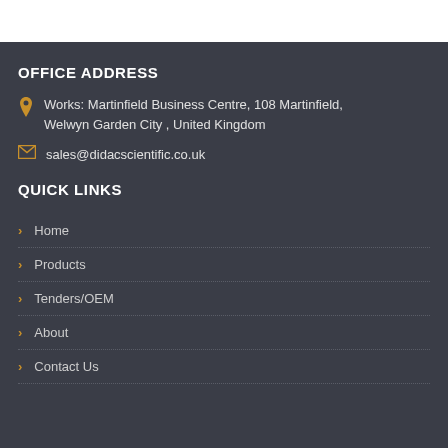OFFICE ADDRESS
Works: Martinfield Business Centre, 108 Martinfield,
Welwyn Garden City , United Kingdom
sales@didacscientific.co.uk
QUICK LINKS
Home
Products
Tenders/OEM
About
Contact Us